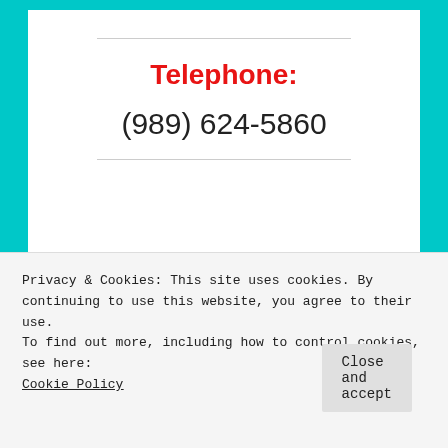Telephone:
(989) 624-5860
Tony's I-75 Restaurant Hours
Privacy & Cookies: This site uses cookies. By continuing to use this website, you agree to their use.
To find out more, including how to control cookies, see here: Cookie Policy
Close and accept